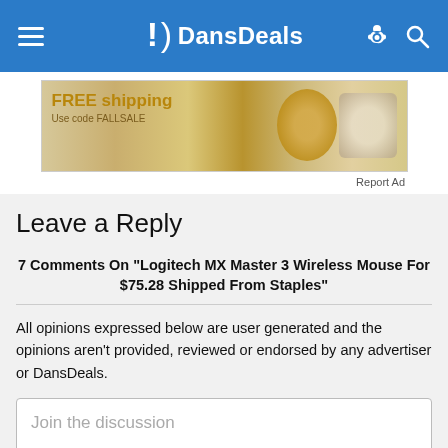DansDeals
[Figure (photo): Advertisement banner showing food items with text 'FREE shipping Use code FALLSALE']
Report Ad
Leave a Reply
7 Comments On "Logitech MX Master 3 Wireless Mouse For $75.28 Shipped From Staples"
All opinions expressed below are user generated and the opinions aren't provided, reviewed or endorsed by any advertiser or DansDeals.
Join the discussion